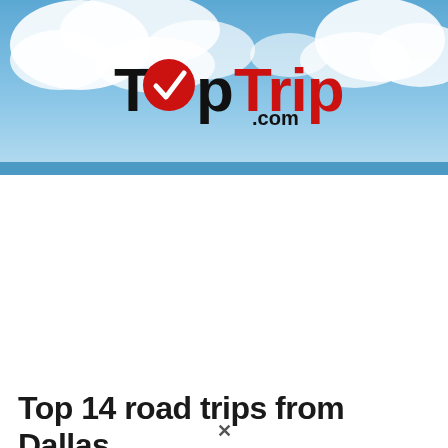[Figure (logo): TopTrips.com logo on a blue sky with clouds background banner]
Top 14 road trips from Dallas